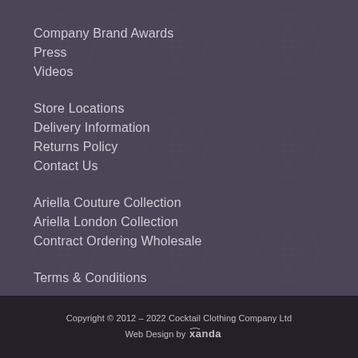Company Brand Awards
Press
Videos
Store Locations
Delivery Information
Returns Policy
Contact Us
Ariella Couture Collection
Ariella London Collection
Contract Ordering Wholesale
Terms & Conditions
Copyright © 2012 – 2022 Cocktail Clothing Company Ltd
Web Design by xanda